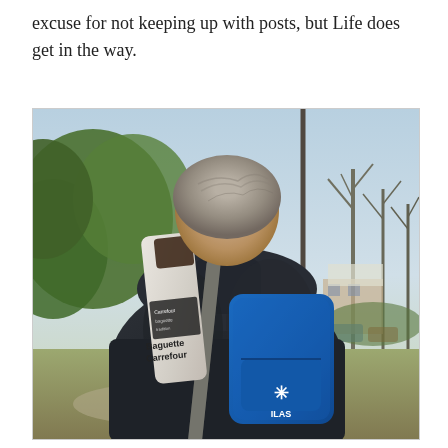excuse for not keeping up with posts, but Life does get in the way.
[Figure (photo): Back view of a man wearing a dark puffer jacket and carrying a blue backpack with a baguette (labelled 'Baguette Carrefour') sticking out of the side strap. He is walking outdoors with green trees and bare trees visible in the background.]